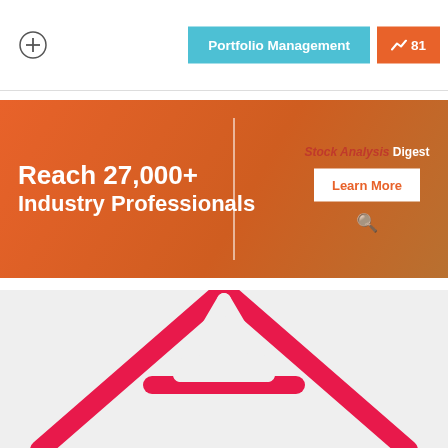[Figure (other): Plus/add circle icon button in top left of navigation bar]
Portfolio Management
81
[Figure (infographic): Orange banner advertisement reading 'Reach 27,000+ Industry Professionals' with a vertical divider, 'Stock Analysis Digest' text, and a 'Learn More' button on the right side]
[Figure (infographic): Partial pyramid/triangle diagram outline in red/pink color on light gray background, showing a large A-frame or pyramid shape with the top portion visible]